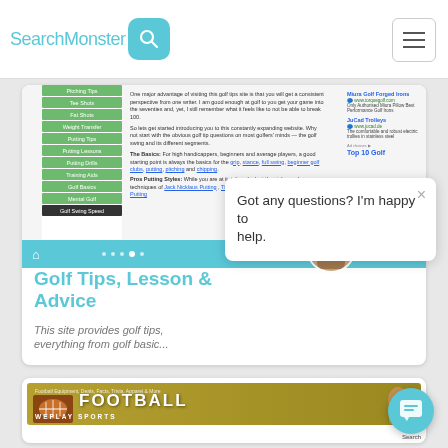SearchMonster [search icon] [hamburger menu]
[Figure (screenshot): Screenshot of a golf tips website with left navigation menu (Pitching Tips, Tee Shots, Fat Shots, Weight Transfer, Putting Tips, Putting Lessons, Putting Drills, Training Aids, Golf Basics, Mental Golf, Golf Swing Speed), main content area with text about golf tips and advice, and right-side ads for Miura Golf Forged Irons and JuCad Trolleys. Below is a blue navigation bar with home icon and avatar, then page title 'Golf Tips, Lesson & Advice' in teal, subtitle text in gray italic.]
Got any questions? I'm happy to help.
[Figure (screenshot): Screenshot of a football website header with golden/olive background showing 'FOOTBALL' in large text and 'WEPLAY SPORTS' branding with football player image]